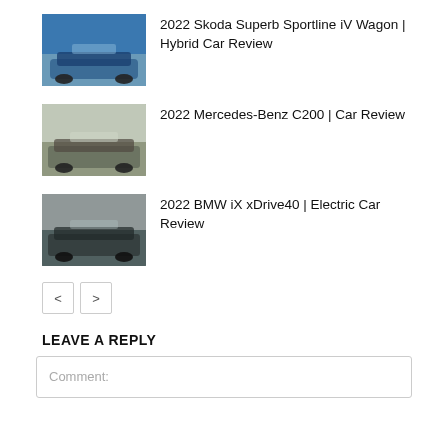[Figure (photo): 2022 Skoda Superb Sportline iV Wagon - blue car photo thumbnail]
2022 Skoda Superb Sportline iV Wagon | Hybrid Car Review
[Figure (photo): 2022 Mercedes-Benz C200 - grey car photo thumbnail]
2022 Mercedes-Benz C200 | Car Review
[Figure (photo): 2022 BMW iX xDrive40 - dark car photo thumbnail]
2022 BMW iX xDrive40 | Electric Car Review
< >
LEAVE A REPLY
Comment: